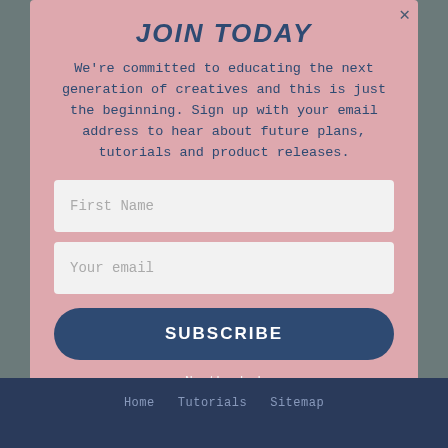JOIN TODAY
We're committed to educating the next generation of creatives and this is just the beginning. Sign up with your email address to hear about future plans, tutorials and product releases.
First Name
Your email
SUBSCRIBE
No thanks!